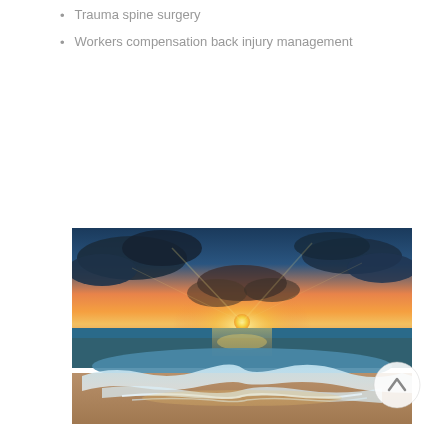Trauma spine surgery
Workers compensation back injury management
[Figure (photo): Scenic beach sunset photograph showing ocean waves washing onto sandy shore with dramatic orange and teal sky]